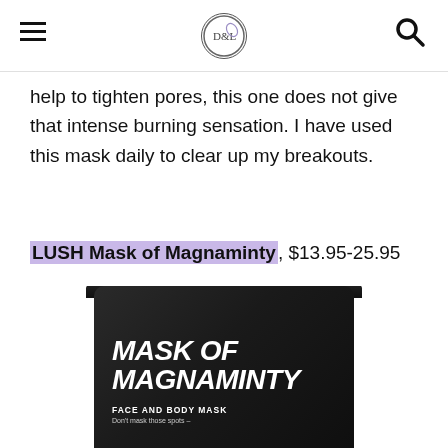D&L logo with hamburger menu and search icon
help to tighten pores, this one does not give that intense burning sensation. I have used this mask daily to clear up my breakouts.
LUSH Mask of Magnaminty, $13.95-25.95
[Figure (photo): Black cylindrical container of LUSH Mask of Magnaminty Face and Body Mask with white handwritten-style text on the label reading 'MASK OF MAGNAMINTY' and 'FACE AND BODY MASK - Don't mask those spots -']